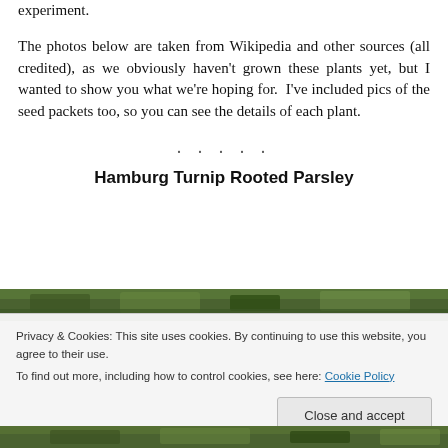experiment.
The photos below are taken from Wikipedia and other sources (all credited), as we obviously haven't grown these plants yet, but I wanted to show you what we're hoping for.  I've included pics of the seed packets too, so you can see the details of each plant.
. . . . .
Hamburg Turnip Rooted Parsley
[Figure (photo): Photo of Hamburg Turnip Rooted Parsley plant in soil, top strip]
Privacy & Cookies: This site uses cookies. By continuing to use this website, you agree to their use.
To find out more, including how to control cookies, see here: Cookie Policy
[Figure (photo): Photo of Hamburg Turnip Rooted Parsley plant in soil, bottom strip]